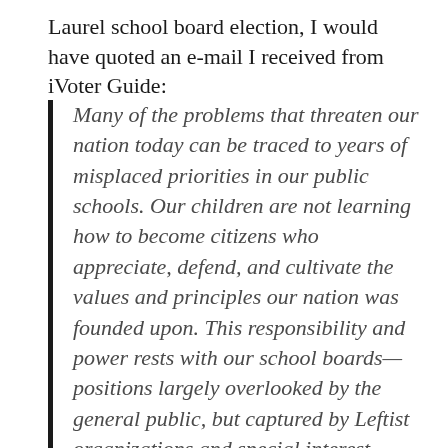Laurel school board election, I would have quoted an e-mail I received from iVoter Guide:
Many of the problems that threaten our nation today can be traced to years of misplaced priorities in our public schools. Our children are not learning how to become citizens who appreciate, defend, and cultivate the values and principles our nation was founded upon. This responsibility and power rests with our school boards—positions largely overlooked by the general public, but captured by Leftist organizations and special interest groups who have exercised their influence over our children for far too